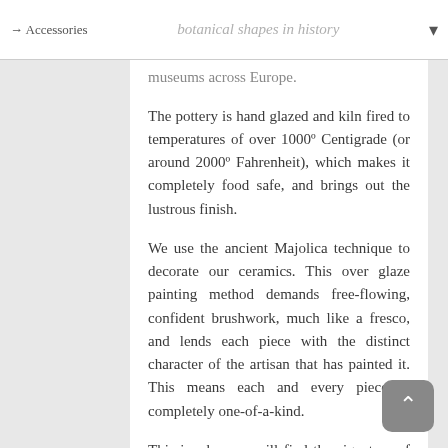→ Accessories   [botanical shapes in history ▾]
museums across Europe.
The pottery is hand glazed and kiln fired to temperatures of over 1000º Centigrade (or around 2000º Fahrenheit), which makes it completely food safe, and brings out the lustrous finish.
We use the ancient Majolica technique to decorate our ceramics. This over glaze painting method demands free-flowing, confident brushwork, much like a fresco, and lends each piece with the distinct character of the artisan that has painted it. This means each and every piece is completely one-of-a-kind.
This is why you will find the signature of the artist and the mark of the Pottery on the base of each piece, though the trained eye can identify the artist from their brushwork alone.